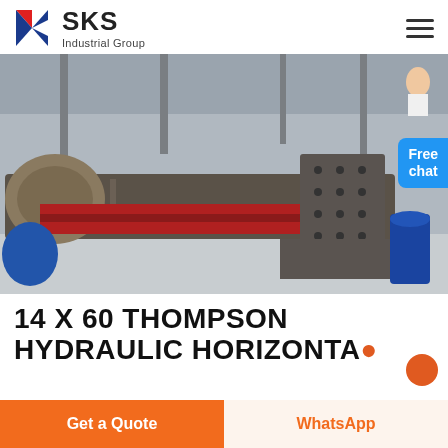[Figure (logo): SKS Industrial Group logo with red and blue K symbol and company name]
[Figure (photo): Large industrial hydraulic horizontal machine frame/casting on factory floor in a large warehouse with overhead cranes and steel structure visible]
14 X 60 THOMPSON HYDRAULIC HORIZONTA...
Get a Quote
WhatsApp